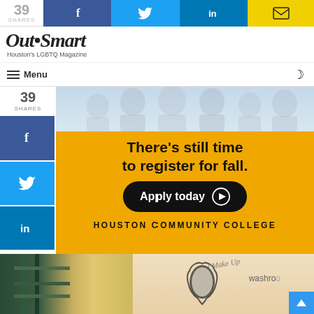39 SHARES | Facebook | Twitter | LinkedIn | Email
Out Smart - Houston's LGBTQ Magazine
≡ Menu
39 SHARES
[Figure (infographic): Houston Community College advertisement banner on yellow/orange background. Text: 'There's still time to register for fall. Apply today ▶'. 'HOUSTON COMMUNITY COLLEGE'. Top shows students silhouettes.]
[Figure (photo): Interior photo showing a bathroom/washroom area with a decorative mirror frame, green metal structure on left, and 'washroom' text on a peach-colored wall.]